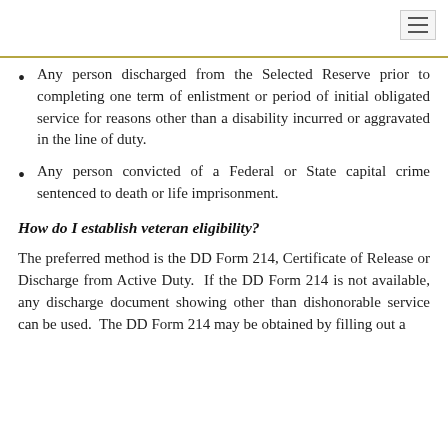Any person discharged from the Selected Reserve prior to completing one term of enlistment or period of initial obligated service for reasons other than a disability incurred or aggravated in the line of duty.
Any person convicted of a Federal or State capital crime sentenced to death or life imprisonment.
How do I establish veteran eligibility?
The preferred method is the DD Form 214, Certificate of Release or Discharge from Active Duty.  If the DD Form 214 is not available, any discharge document showing other than dishonorable service can be used.  The DD Form 214 may be obtained by filling out a